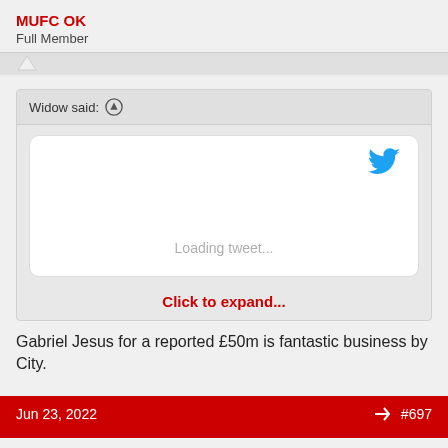MUFC OK
Full Member
Widow said: ↑
[Figure (screenshot): Embedded tweet widget showing Twitter bird logo and 'Loading tweet...' placeholder text]
Click to expand...
Gabriel Jesus for a reported £50m is fantastic business by City.
Jun 23, 2022  #697